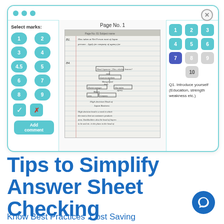[Figure (screenshot): App window showing answer sheet checking interface with left panel (Select marks, numbered buttons 1-9, checkmark and cross icons, Add comment button), center panel (Page No. 1 with handwritten answer sheet image), and right panel (numbered buttons 1-10 with 7 highlighted in blue, Q1 Introduce yourself text)]
Tips to Simplify Answer Sheet Checking
Know Best Practices .Cost Saving